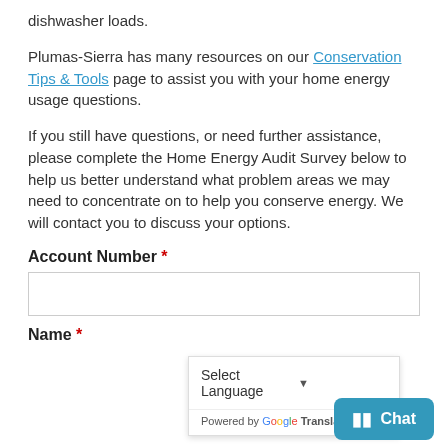dishwasher loads.
Plumas-Sierra has many resources on our Conservation Tips & Tools page to assist you with your home energy usage questions.
If you still have questions, or need further assistance, please complete the Home Energy Audit Survey below to help us better understand what problem areas we may need to concentrate on to help you conserve energy. We will contact you to discuss your options.
Account Number *
Name *